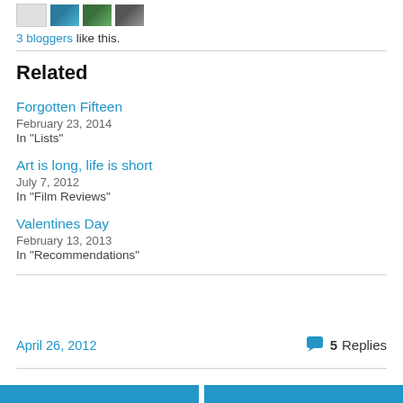[Figure (illustration): Row of blogger avatar thumbnails - one grey box and three small colored images]
3 bloggers like this.
Related
Forgotten Fifteen
February 23, 2014
In "Lists"
Art is long, life is short
July 7, 2012
In "Film Reviews"
Valentines Day
February 13, 2013
In "Recommendations"
April 26, 2012
5 Replies